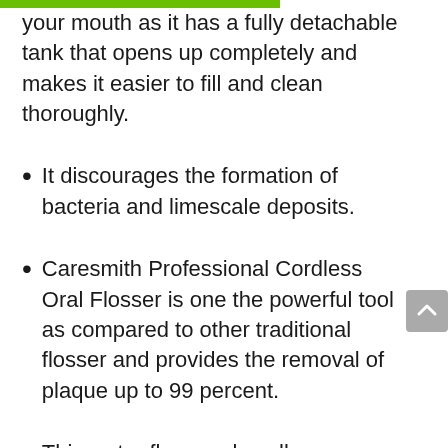your mouth as it has a fully detachable tank that opens up completely and makes it easier to fill and clean thoroughly.
It discourages the formation of bacteria and limescale deposits.
Caresmith Professional Cordless Oral Flosser is one the powerful tool as compared to other traditional flosser and provides the removal of plaque up to 99 percent.
This water flosser also allows enhancing